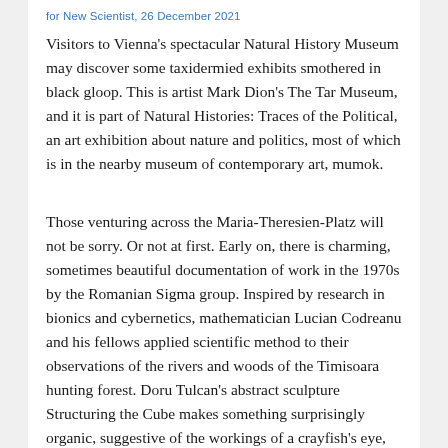for New Scientist, 26 December 2021
Visitors to Vienna's spectacular Natural History Museum may discover some taxidermied exhibits smothered in black gloop. This is artist Mark Dion's The Tar Museum, and it is part of Natural Histories: Traces of the Political, an art exhibition about nature and politics, most of which is in the nearby museum of contemporary art, mumok.
Those venturing across the Maria-Theresien-Platz will not be sorry. Or not at first. Early on, there is charming, sometimes beautiful documentation of work in the 1970s by the Romanian Sigma group. Inspired by research in bionics and cybernetics, mathematician Lucian Codreanu and his fellows applied scientific method to their observations of the rivers and woods of the Timisoara hunting forest. Doru Tulcan's abstract sculpture Structuring the Cube makes something surprisingly organic, suggestive of the workings of a crayfish's eye, from a tiny vocabulary of rods and triangles. Meanwhile, Stefan Bertalan's Structure of the Elderflower earns its place by virtue of its exquisite draughtsmanship. This